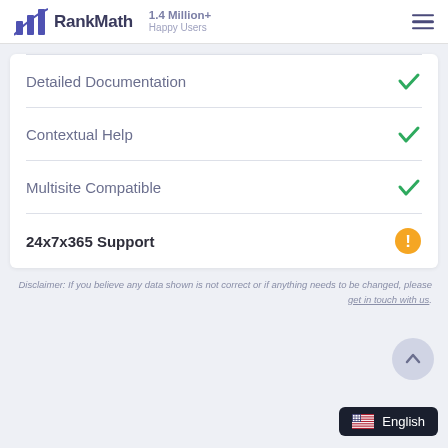RankMath — 1.4 Million+ Happy Users
Detailed Documentation ✓
Contextual Help ✓
Multisite Compatible ✓
24x7x365 Support ⚠
Disclaimer: If you believe any data shown is not correct or if anything needs to be changed, please get in touch with us.